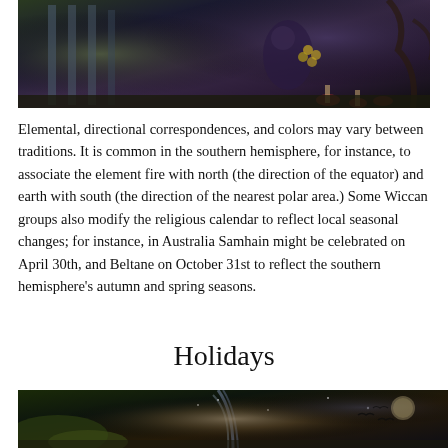[Figure (illustration): Dark fantasy illustration showing architectural columns on the left and a mystical figure with an owl among trees and mushrooms on the right, with a dark nighttime atmosphere.]
Elemental, directional correspondences, and colors may vary between traditions. It is common in the southern hemisphere, for instance, to associate the element fire with north (the direction of the equator) and earth with south (the direction of the nearest polar area.) Some Wiccan groups also modify the religious calendar to reflect local seasonal changes; for instance, in Australia Samhain might be celebrated on April 30th, and Beltane on October 31st to reflect the southern hemisphere's autumn and spring seasons.
Holidays
[Figure (illustration): Dark fantasy landscape showing a night sky with stars, a glowing rainbow or light beam, birds silhouetted against the sky, and foliage in the foreground.]